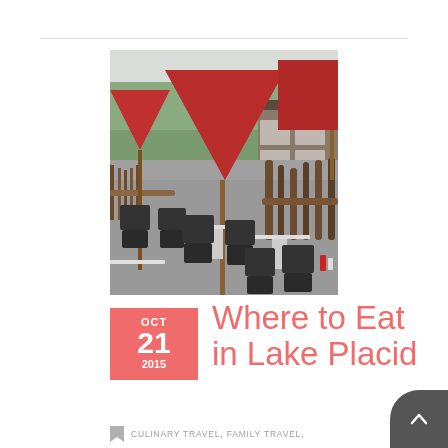[Figure (photo): Outdoor restaurant patio/deck with black plastic chairs and tables, red patio umbrellas, rustic log railing, view of trees and lake in background, building with windows on right side.]
Where to Eat in Lake Placid
OCT 21 2015
CULINARY TRAVEL, FAMILY TRAVEL,